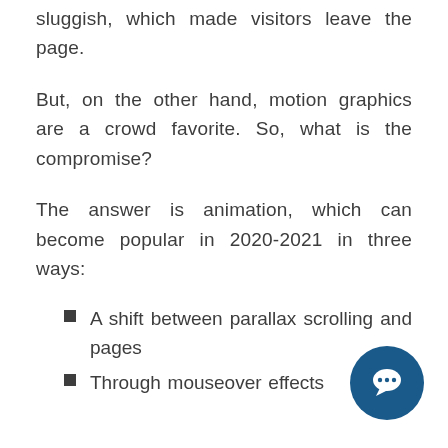sluggish, which made visitors leave the page.
But, on the other hand, motion graphics are a crowd favorite. So, what is the compromise?
The answer is animation, which can become popular in 2020-2021 in three ways:
A shift between parallax scrolling and pages
Through mouseover effects